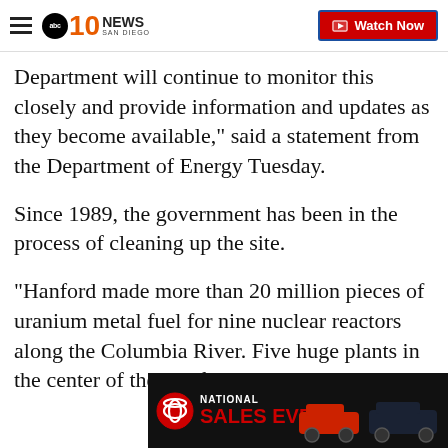ABC 10News San Diego — Watch Now
Department will continue to monitor this closely and provide information and updates as they become available," said a statement from the Department of Energy Tuesday.
Since 1989, the government has been in the process of cleaning up the site.
"Hanford made more than 20 million pieces of uranium metal fuel for nine nuclear reactors along the Columbia River. Five huge plants in the center of the Hanford... the reacto... ons
[Figure (other): Toyota National Sales Event advertisement banner with red Toyota logo, red text 'NATIONAL SALES EVENT', and image of Toyota SUVs]